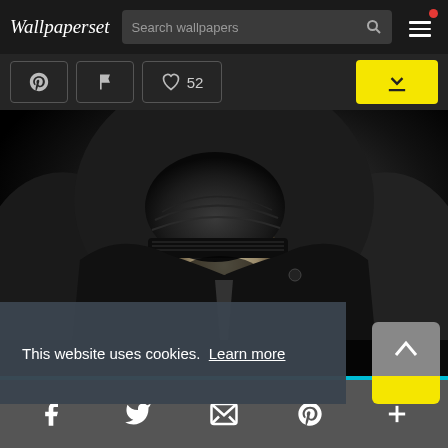Wallpaperset — Search wallpapers
[Figure (screenshot): Website screenshot of Wallpaperset showing a dark-themed wallpaper site with a photo of a person in a dark hoodie and beanie hat, action buttons, cookie consent banner, and social media footer icons]
This website uses cookies. Learn more